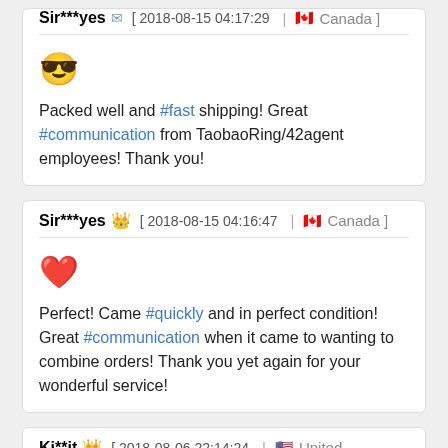Sir***yes [ 2018-08-15 04:17:29 | Canada ]
😎 Packed well and #fast shipping! Great #communication from TaobaoRing/42agent employees! Thank you!
Sir***yes 👑 [ 2018-08-15 04:16:47 | Canada ]
❤️ Perfect! Came #quickly and in perfect condition! Great #communication when it came to wanting to combine orders! Thank you yet again for your wonderful service!
Ki**it 👑 [ 2018-08-06 22:14:24 | United